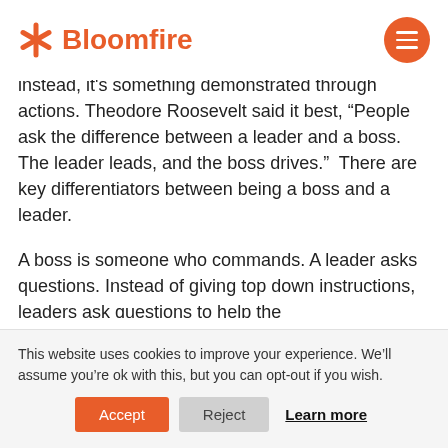Bloomfire
instead, it's something demonstrated through actions. Theodore Roosevelt said it best, “People ask the difference between a leader and a boss. The leader leads, and the boss drives.”  There are key differentiators between being a boss and a leader.
A boss is someone who commands. A leader asks questions. Instead of giving top down instructions, leaders ask questions to help the
This website uses cookies to improve your experience. We’ll assume you’re ok with this, but you can opt-out if you wish.
Accept  Reject  Learn more